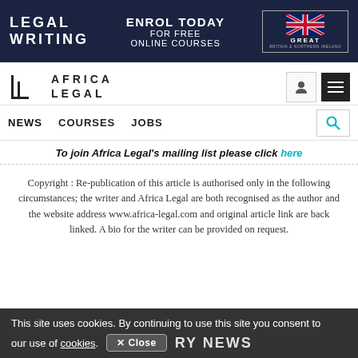[Figure (screenshot): Legal Writing / Africa Legal website banner ad: dark navy background with LEGAL WRITING text on left, ENROL TODAY FOR FREE ONLINE COURSES in center, GREAT Britain & Northern Ireland logo on right]
[Figure (logo): Africa Legal logo with stylized AL icon and AFRICA LEGAL text in uppercase letters]
NEWS   COURSES   JOBS
To join Africa Legal's mailing list please click here
Copyright : Re-publication of this article is authorised only in the following circumstances; the writer and Africa Legal are both recognised as the author and the website address www.africa-legal.com and original article link are back linked. A bio for the writer can be provided on request.
This site uses cookies. By continuing to use this site you consent to our use of cookies.